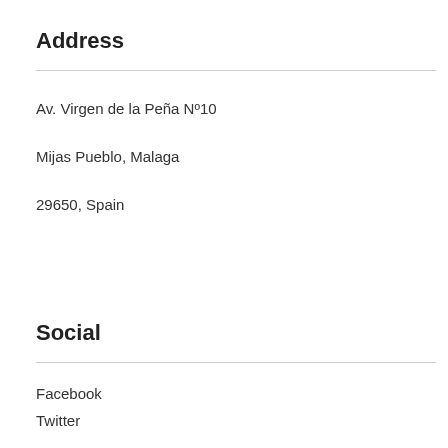Address
Av. Virgen de la Peña Nº10
Mijas Pueblo, Malaga
29650, Spain
Social
Facebook
Twitter